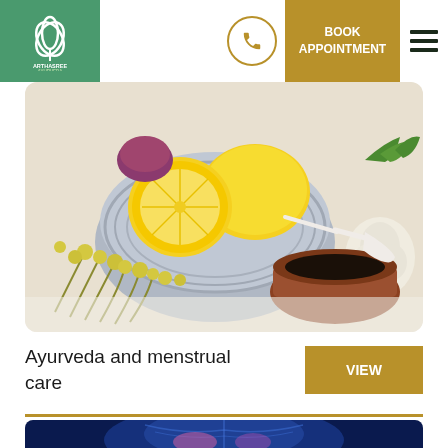[Figure (logo): Arthasree Ayurveda logo in teal/green box]
[Figure (photo): Ayurvedic herbs and ingredients: lemons, garlic, dried flowers, black seeds in a clay bowl, spoon, arranged on white surface]
Ayurveda and menstrual care
[Figure (illustration): Human body X-ray/medical illustration showing kidneys and internal organs highlighted in blue and pink]